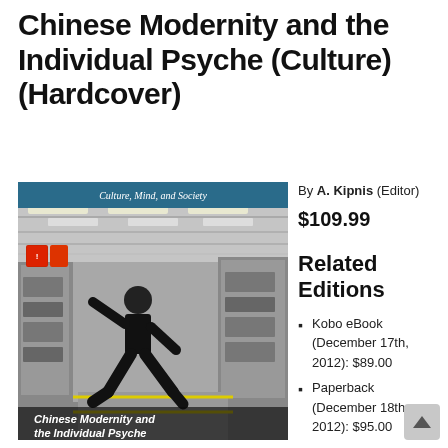Chinese Modernity and the Individual Psyche (Culture) (Hardcover)
[Figure (photo): Book cover of 'Chinese Modernity and the Individual Psyche' showing a person practicing tai chi in a large industrial factory floor. The cover has a teal/blue header reading 'Culture, Mind, and Society' and title text at the bottom.]
By A. Kipnis (Editor)
$109.99
Related Editions
Kobo eBook (December 17th, 2012): $89.00
Paperback (December 18th, 2012): $95.00